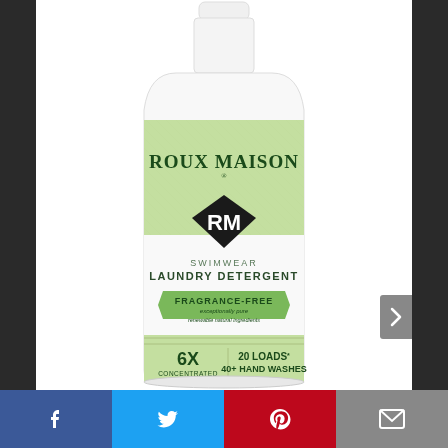[Figure (photo): A white plastic bottle of Roux Maison Swimwear Laundry Detergent with a green label. The label reads: ROUX MAISON, RM logo in black diamond shape, SWIMWEAR LAUNDRY DETERGENT, FRAGRANCE-FREE, exceptionally pure renewable natural ingredients, 6X CONCENTRATED, 20 LOADS*, 40+ HAND WASHES.]
[Figure (infographic): Social sharing bar at the bottom with four buttons: Facebook (blue), Twitter (light blue), Pinterest (red), Email (gray), each with white icons.]